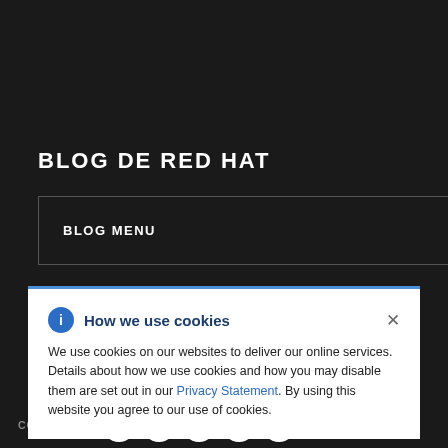BLOG DE RED HAT
BLOG MENU
How we use cookies
We use cookies on our websites to deliver our online services. Details about how we use cookies and how you may disable them are set out in our Privacy Statement. By using this website you agree to our use of cookies.
COMPARTIR